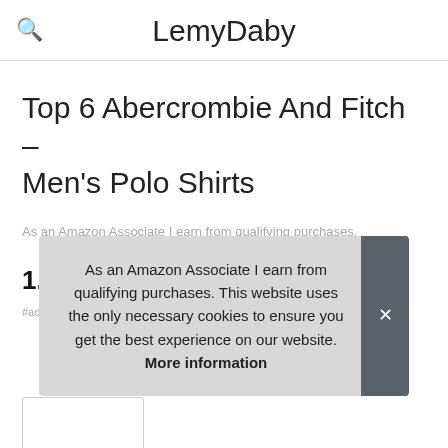LemyDaby
Top 6 Abercrombie And Fitch – Men's Polo Shirts
As an Amazon Associate I earn from qualifying purchases.
1. Champion
#ad
As an Amazon Associate I earn from qualifying purchases. This website uses the only necessary cookies to ensure you get the best experience on our website. More information